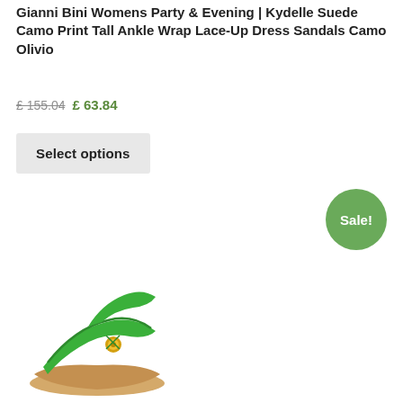Gianni Bini Womens Party & Evening | Kydelle Suede Camo Print Tall Ankle Wrap Lace-Up Dress Sandals Camo Olivio
£ 155.04  £ 63.84
Select options
[Figure (other): Green Sale! badge circle]
[Figure (photo): Green women's dress sandal with ankle wrap lace-up strap and gold buckle detail, shown at an angle]